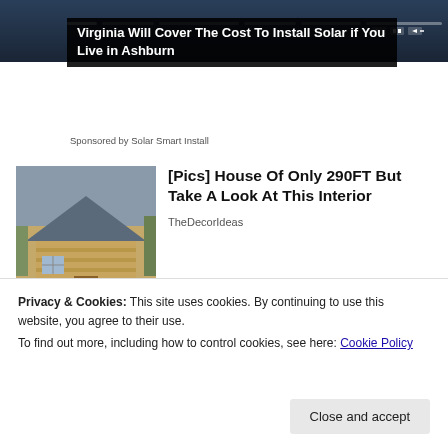[Figure (screenshot): Video player screenshot with dark background and progress bar segments at top]
Virginia Will Cover The Cost To Install Solar if You Live in Ashburn
Sponsored by Solar Smart Install
[Figure (photo): Small log cabin house with wooden exterior and roof]
[Pics] House Of Only 290FT But Take A Look At This Interior
TheDecorIdeas
[Figure (photo): Person with arms crossed, Hepatitis C article thumbnail]
Hepatitis C - Take A Look at Signs
Privacy & Cookies: This site uses cookies. By continuing to use this website, you agree to their use.
To find out more, including how to control cookies, see here: Cookie Policy
Close and accept